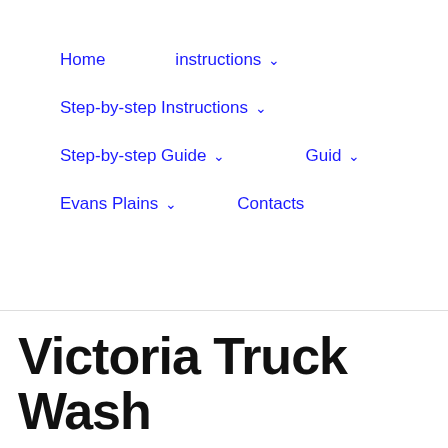Home   instructions ∨
Step-by-step Instructions ∨
Step-by-step Guide ∨   Guid ∨
Evans Plains ∨   Contacts
Victoria Truck Wash